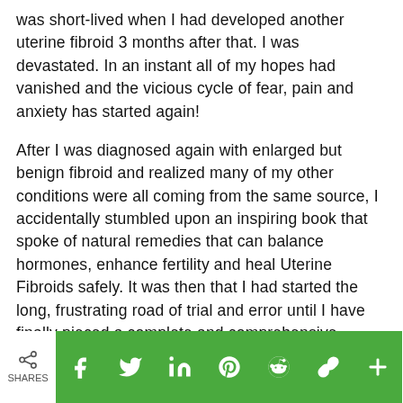was short-lived when I had developed another uterine fibroid 3 months after that. I was devastated. In an instant all of my hopes had vanished and the vicious cycle of fear, pain and anxiety has started again!
After I was diagnosed again with enlarged but benign fibroid and realized many of my other conditions were all coming from the same source, I accidentally stumbled upon an inspiring book that spoke of natural remedies that can balance hormones, enhance fertility and heal Uterine Fibroids safely. It was then that I had started the long, frustrating road of trial and error until I have finally pieced a complete and comprehensive holistic system used by thousands
SHARES | social share bar with Facebook, Twitter, LinkedIn, Pinterest, Reddit, Link, Plus buttons